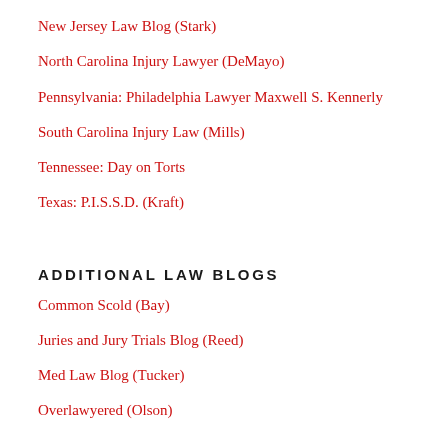New Jersey Law Blog (Stark)
North Carolina Injury Lawyer (DeMayo)
Pennsylvania: Philadelphia Lawyer Maxwell S. Kennerly
South Carolina Injury Law (Mills)
Tennessee: Day on Torts
Texas: P.I.S.S.D. (Kraft)
ADDITIONAL LAW BLOGS
Common Scold (Bay)
Juries and Jury Trials Blog (Reed)
Med Law Blog (Tucker)
Overlawyered (Olson)